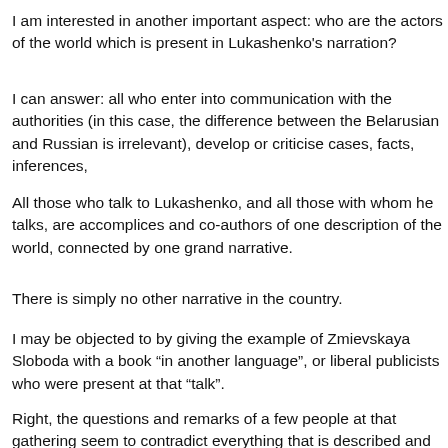I am interested in another important aspect: who are the actors of the world which is present in Lukashenko's narration?
I can answer: all who enter into communication with the authorities (in this case, the difference between the Belarusian and Russian is irrelevant), develop or criticise cases, facts, inferences,
All those who talk to Lukashenko, and all those with whom he talks, are accomplices and co-authors of one description of the world, connected by one grand narrative.
There is simply no other narrative in the country.
I may be objected to by giving the example of Zmievskaya Sloboda with a book “in another language”, or liberal publicists who were present at that “talk”.
Right, the questions and remarks of a few people at that gathering seem to contradict everything that is described and